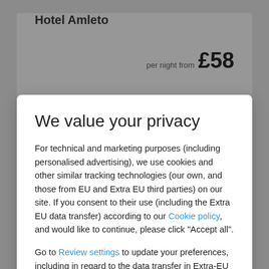Hotel Amleto
per night from £58
We value your privacy
For technical and marketing purposes (including personalised advertising), we use cookies and other similar tracking technologies (our own, and those from EU and Extra EU third parties) on our site. If you consent to their use (including the Extra EU data transfer) according to our Cookie policy, and would like to continue, please click "Accept all".
Go to Review settings to update your preferences, including in regard to the data transfer in Extra-EU countries, or click here to continue without non mandatory cookies.
ACCEPT ALL
Agorà Hostel Hostel
per night from £38